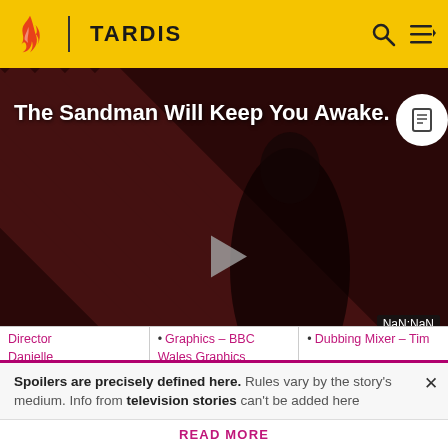TARDIS
The Sandman Will Keep You Awake.
[Figure (screenshot): Video player thumbnail showing a dark figure in black against diagonal dark red/brown striped background. Play button in center. Bottom shows 'THE LOOP' text. Timer shows NaN:NaN.]
| Director Danielle | Graphics - BBC Wales Graphics | Dubbing Mixer - Tim |
| --- | --- | --- |
Spoilers are precisely defined here. Rules vary by the story's medium. Info from television stories can't be added here
READ MORE